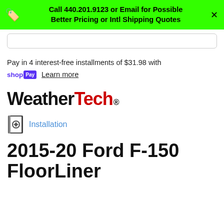Call 440.201.9123 or Email for Possible Better Pricing or Intl Shipping Quotes
Pay in 4 interest-free installments of $31.98 with shopPay Learn more
[Figure (logo): WeatherTech logo with 'Weather' in black bold and 'Tech' in red bold followed by registered trademark symbol]
Installation
2015-20 Ford F-150 FloorLiner